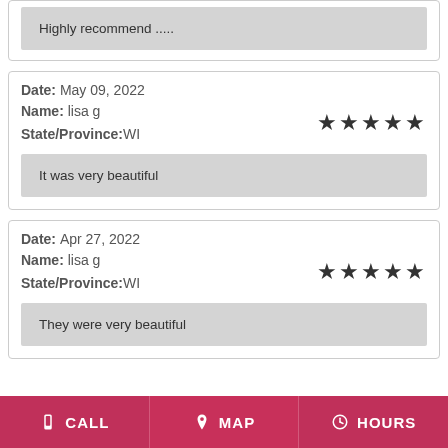Highly recommend .....
Date: May 09, 2022
Name: lisa g
State/Province:WI
★★★★★
It was very beautiful
Date: Apr 27, 2022
Name: lisa g
State/Province:WI
★★★★★
They were very beautiful
CALL  MAP  HOURS